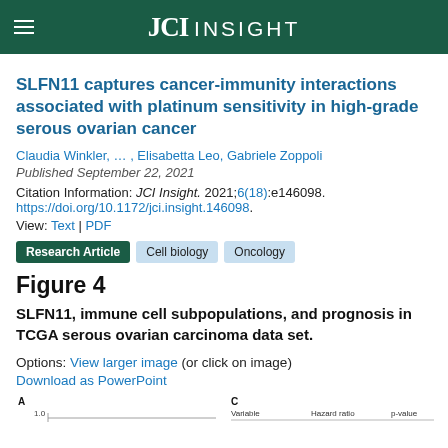JCI Insight
SLFN11 captures cancer-immunity interactions associated with platinum sensitivity in high-grade serous ovarian cancer
Claudia Winkler, … , Elisabetta Leo, Gabriele Zoppoli
Published September 22, 2021
Citation Information: JCI Insight. 2021;6(18):e146098. https://doi.org/10.1172/jci.insight.146098.
View: Text | PDF
Research Article  Cell biology  Oncology
Figure 4
SLFN11, immune cell subpopulations, and prognosis in TCGA serous ovarian carcinoma data set.
Options: View larger image (or click on image)
Download as PowerPoint
[Figure (other): Partial view of Figure 4 showing beginning of panel A (survival curve) and panel C (table with Variable, Hazard ratio, p-value columns)]